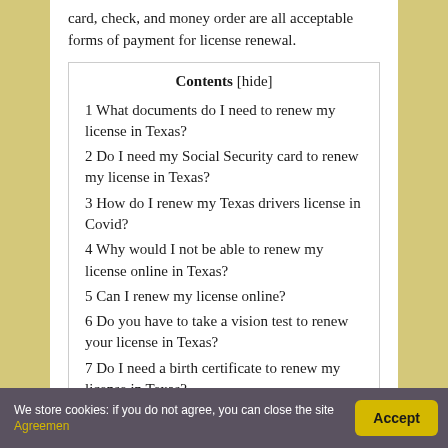card, check, and money order are all acceptable forms of payment for license renewal.
1 What documents do I need to renew my license in Texas?
2 Do I need my Social Security card to renew my license in Texas?
3 How do I renew my Texas drivers license in Covid?
4 Why would I not be able to renew my license online in Texas?
5 Can I renew my license online?
6 Do you have to take a vision test to renew your license in Texas?
7 Do I need a birth certificate to renew my license in Texas?
We store cookies: if you do not agree, you can close the site Agreement